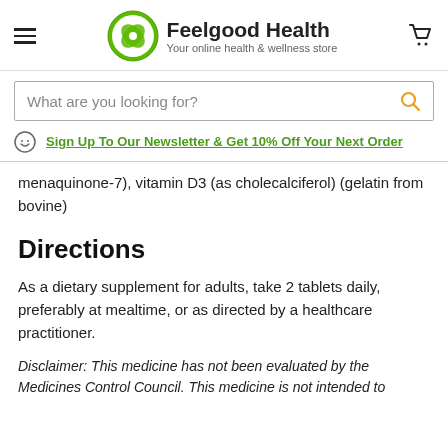Feelgood Health — Your online health & wellness store
What are you looking for?
Sign Up To Our Newsletter & Get 10% Off Your Next Order
menaquinone-7), vitamin D3 (as cholecalciferol) (gelatin from bovine)
Directions
As a dietary supplement for adults, take 2 tablets daily, preferably at mealtime, or as directed by a healthcare practitioner.
Disclaimer: This medicine has not been evaluated by the Medicines Control Council. This medicine is not intended to